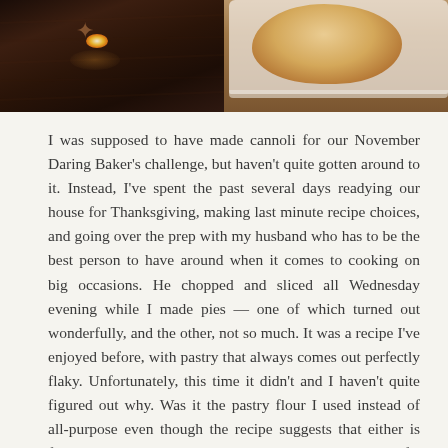[Figure (photo): Two photos side by side at top: left photo shows a dark wooden floor with a glowing candle/snowflake decoration; right photo shows a golden-brown scone or biscuit on a white plate.]
I was supposed to have made cannoli for our November Daring Baker's challenge, but haven't quite gotten around to it.  Instead, I've spent the past several days readying our house for Thanksgiving, making last minute recipe choices, and going over the prep with my husband who has to be the best person to have around when it comes to cooking on big occasions.  He chopped and sliced all Wednesday evening while I made pies — one of which turned out wonderfully, and the other, not so much. It was a recipe I've enjoyed before, with pastry that always comes out perfectly flaky.  Unfortunately, this time it didn't and I haven't quite figured out why.  Was it the pastry flour I used instead of all-purpose even though the recipe suggests that either is fine?  Perhaps it was the European butter with its higher fat content.  Can there be too much fat in pie pastry?  Actually, I'd say it was most likely my fault making a whole batch in my not-quite-big-enough Cuisinart instead of the half batch I normally make.  Suffice